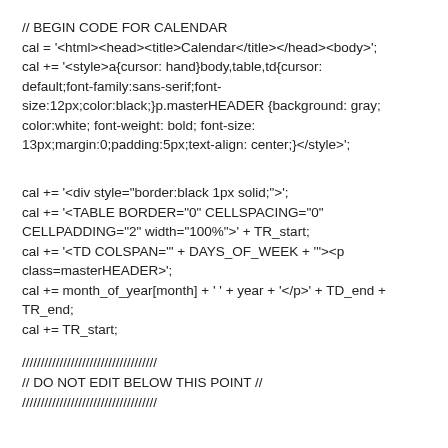// BEGIN CODE FOR CALENDAR
cal = '<html><head><title>Calendar</title></head><body>';
cal += '<style>a{cursor: hand}body,table,td{cursor: default;font-family:sans-serif;font-size:12px;color:black;}p.masterHEADER {background: gray; color:white; font-weight: bold; font-size: 13px;margin:0;padding:5px;text-align: center;}</style>';
cal += '<div style="border:black 1px solid;">';
cal += '<TABLE BORDER="0" CELLSPACING="0" CELLPADDING="2" width="100%">' + TR_start;
cal += '<TD COLSPAN="' + DAYS_OF_WEEK + '"><p class=masterHEADER>';
cal += month_of_year[month] + ' ' + year + '</p>' + TD_end + TR_end;
cal += TR_start;
////////////////////////////////////
// DO NOT EDIT BELOW THIS POINT //
////////////////////////////////////